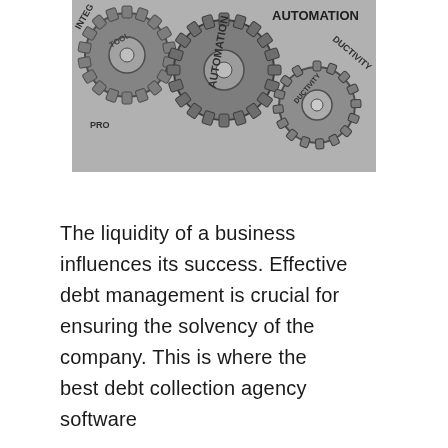[Figure (photo): Black and white photo of interlocking gears with words embossed on them including AUTOMATION, TOOL, PRODUCTIVITY, INTEGRITY, PROCESS]
The liquidity of a business influences its success. Effective debt management is crucial for ensuring the solvency of the company. This is where the best debt collection agency software